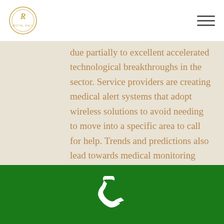Royal Dali logo and navigation menu
due partially to excellent accelerated technological breakthroughs in the sector. Service providers are creating medical alert systems that adopt wireless solutions to avoid needing to move into a specific area to call for help. Trends and predictions also lead towards medical monitoring smart phone apps, that can give medical data to the person.
[Figure (illustration): Green footer bar with white phone/call icon centered]